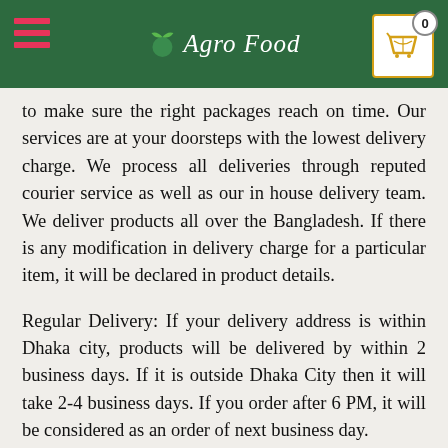Agro Food
to make sure the right packages reach on time. Our services are at your doorsteps with the lowest delivery charge. We process all deliveries through reputed courier service as well as our in house delivery team. We deliver products all over the Bangladesh. If there is any modification in delivery charge for a particular item, it will be declared in product details.
Regular Delivery: If your delivery address is within Dhaka city, products will be delivered by within 2 business days. If it is outside Dhaka City then it will take 2-4 business days. If you order after 6 PM, it will be considered as an order of next business day.
Agro Food Shop does not deliver products outside Bangladesh. You can make your purchases on Agro Food Shop from anywhere in the world, but you can get delivery of the product only within Bangladesh.